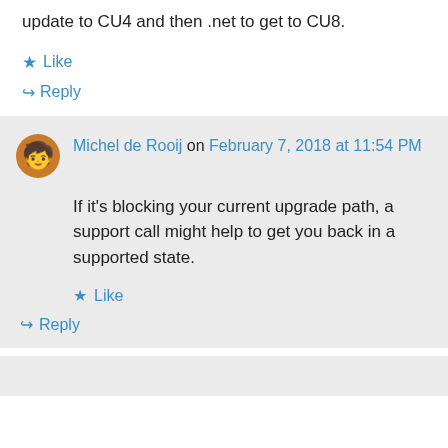update to CU4 and then .net to get to CU8.
★ Like
↪ Reply
Michel de Rooij on February 7, 2018 at 11:54 PM
If it's blocking your current upgrade path, a support call might help to get you back in a supported state.
★ Like
↪ Reply